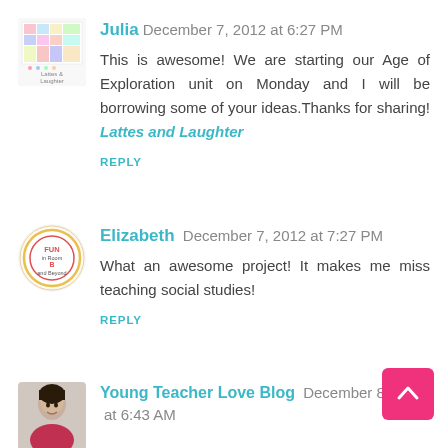[Figure (photo): Avatar thumbnail for Julia - colorful grid pattern logo for Lattes and Laughter blog]
Julia December 7, 2012 at 6:27 PM
This is awesome! We are starting our Age of Exploration unit on Monday and I will be borrowing some of your ideas.Thanks for sharing! Lattes and Laughter
REPLY
[Figure (photo): Circular avatar/logo for Elizabeth - colorful circular logo with text Fun Room and Beyond]
Elizabeth December 7, 2012 at 7:27 PM
What an awesome project! It makes me miss teaching social studies!
REPLY
[Figure (photo): Avatar photo for Young Teacher Love Blog - woman with dark hair]
Young Teacher Love Blog December 8 at 6:43 AM